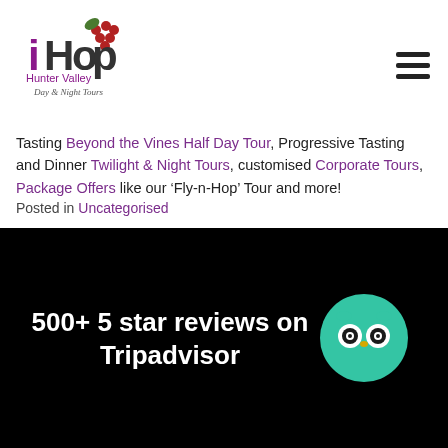[Figure (logo): iHop Hunter Valley Day & Night Tours logo with grape clusters and cursive text]
[Figure (other): Hamburger menu icon (three horizontal bars)]
Tasting Beyond the Vines Half Day Tour, Progressive Tasting and Dinner Twilight & Night Tours, customised Corporate Tours, Package Offers like our ‘Fly-n-Hop’ Tour and more!
Posted in Uncategorised
500+ 5 star reviews on Tripadvisor
[Figure (logo): TripAdvisor owl icon in a green circle]